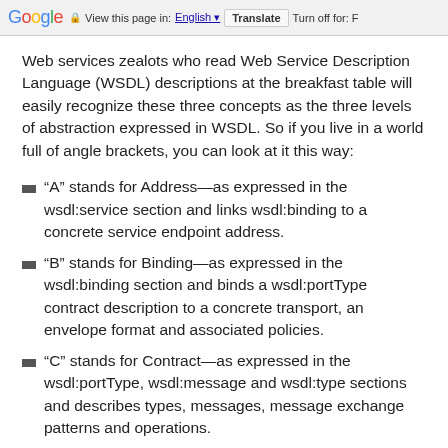Google  View this page in: English  Translate  Turn off for: F
Web services zealots who read Web Service Description Language (WSDL) descriptions at the breakfast table will easily recognize these three concepts as the three levels of abstraction expressed in WSDL. So if you live in a world full of angle brackets, you can look at it this way:
“A” stands for Address—as expressed in the wsdl:service section and links wsdl:binding to a concrete service endpoint address.
“B” stands for Binding—as expressed in the wsdl:binding section and binds a wsdl:portType contract description to a concrete transport, an envelope format and associated policies.
“C” stands for Contract—as expressed in the wsdl:portType, wsdl:message and wsdl:type sections and describes types, messages, message exchange patterns and operations.